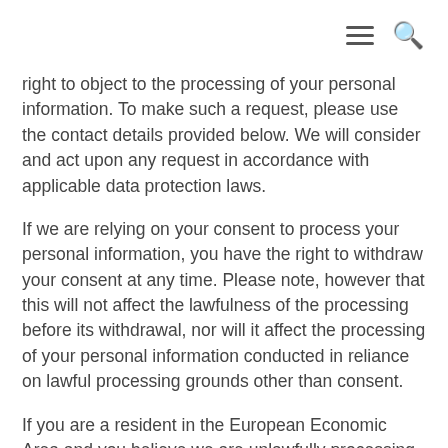[hamburger menu icon] [search icon]
right to object to the processing of your personal information. To make such a request, please use the contact details provided below. We will consider and act upon any request in accordance with applicable data protection laws.
If we are relying on your consent to process your personal information, you have the right to withdraw your consent at any time. Please note, however that this will not affect the lawfulness of the processing before its withdrawal, nor will it affect the processing of your personal information conducted in reliance on lawful processing grounds other than consent.
If you are a resident in the European Economic Area and you believe we are unlawfully processing your personal